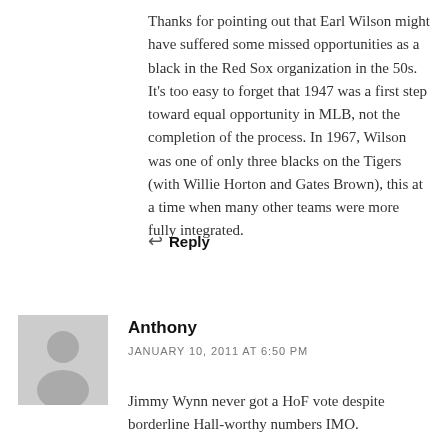Thanks for pointing out that Earl Wilson might have suffered some missed opportunities as a black in the Red Sox organization in the 50s. It's too easy to forget that 1947 was a first step toward equal opportunity in MLB, not the completion of the process. In 1967, Wilson was one of only three blacks on the Tigers (with Willie Horton and Gates Brown), this at a time when many other teams were more fully integrated.
↩ Reply
[Figure (illustration): Generic avatar/profile picture placeholder showing a gray silhouette of a person]
Anthony
JANUARY 10, 2011 AT 6:50 PM
Jimmy Wynn never got a HoF vote despite borderline Hall-worthy numbers IMO.